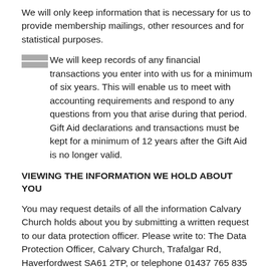We will only keep information that is necessary for us to provide membership mailings, other resources and for statistical purposes.
We will keep records of any financial transactions you enter into with us for a minimum of six years. This will enable us to meet with accounting requirements and respond to any questions from you that arise during that period. Gift Aid declarations and transactions must be kept for a minimum of 12 years after the Gift Aid is no longer valid.
VIEWING THE INFORMATION WE HOLD ABOUT YOU
You may request details of all the information Calvary Church holds about you by submitting a written request to our data protection officer. Please write to: The Data Protection Officer, Calvary Church, Trafalgar Rd, Haverfordwest SA61 2TP, or telephone 01437 765 835 or email admin@calvarychurchpembs.co.uk.